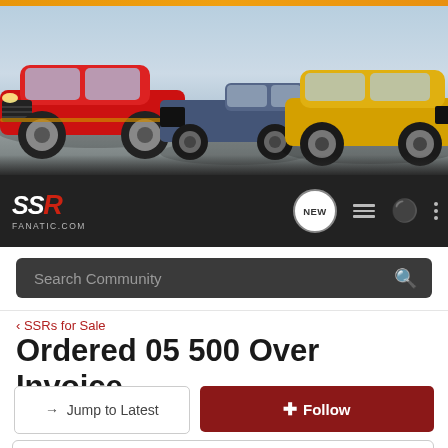[Figure (screenshot): Website header banner showing three Chevrolet SSR vehicles (red convertible, purple/blue truck, yellow truck) on a light blue background with an orange stripe at top]
[Figure (logo): SSRFanatic.com logo in white and red italic text on dark navbar, with navigation icons including NEW bubble, list icon, user icon, and menu dots]
Search Community
< SSRs for Sale
Ordered 05 500 Over Invoice
→ Jump to Latest
+ Follow
Submissions now being accepted for AUGUST SSR OF THE MONTH